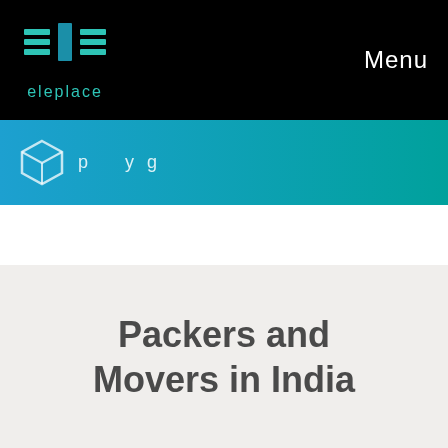eleplace | Menu
[Figure (screenshot): Eleplace logo with teal building/bar icon and 'eleplace' text in teal, on black navbar background]
[Figure (screenshot): Blue-teal gradient banner strip with partial white box/package icon and partially visible text]
Packers and Movers in India